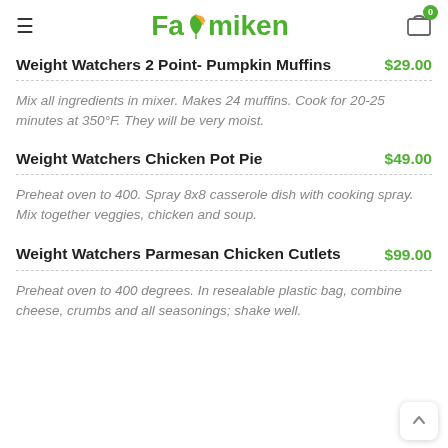Farmiken
Weight Watchers 2 Point- Pumpkin Muffins
Mix all ingredients in mixer. Makes 24 muffins. Cook for 20-25 minutes at 350°F. They will be very moist.
Weight Watchers Chicken Pot Pie
Preheat oven to 400. Spray 8x8 casserole dish with cooking spray. Mix together veggies, chicken and soup.
Weight Watchers Parmesan Chicken Cutlets
Preheat oven to 400 degrees. In resealable plastic bag, combine cheese, crumbs and all seasonings; shake well.